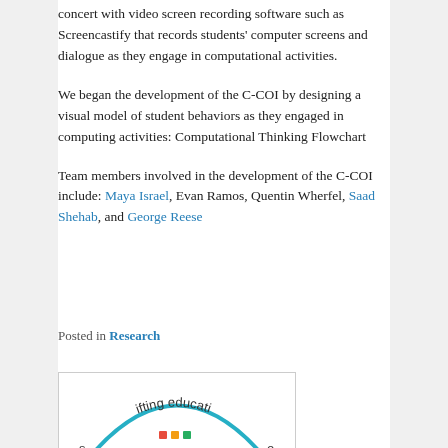concert with video screen recording software such as Screencastify that records students' computer screens and dialogue as they engage in computational activities.
We began the development of the C-COI by designing a visual model of student behaviors as they engaged in computing activities: Computational Thinking Flowchart
Team members involved in the development of the C-COI include: Maya Israel, Evan Ramos, Quentin Wherfel, Saad Shehab, and George Reese
Posted in Research
[Figure (logo): Partial view of a circular logo reading 'shifting education' with colorful graphic elements]